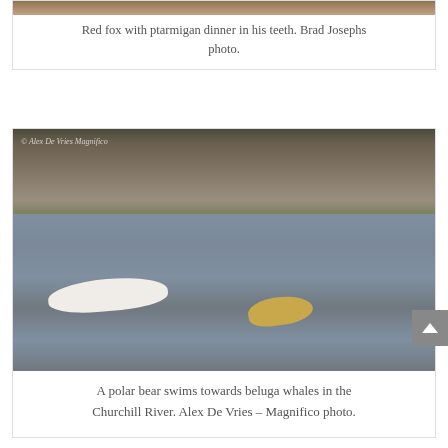[Figure (photo): Partial view of red fox with ptarmigan, showing textured fur/feathers background]
Red fox with ptarmigan dinner in his teeth. Brad Josephs photo.
[Figure (photo): A polar bear swims towards beluga whales in the Churchill River. Rocky shoreline in background. Photo by Alex De Vries – Magnifico. Shows white beluga back and a yellowish seal in the choppy gray water.]
A polar bear swims towards beluga whales in the Churchill River. Alex De Vries – Magnifico photo.